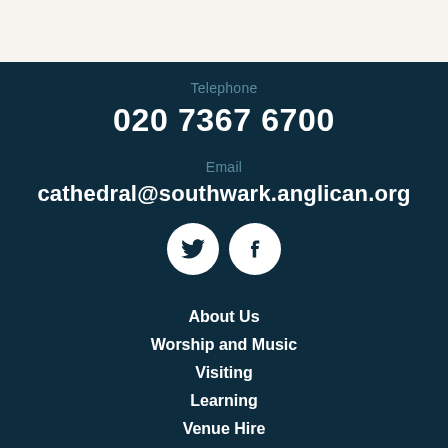Telephone
020 7367 6700
Email
cathedral@southwark.anglican.org
[Figure (illustration): Two circular white social media icons: Twitter bird icon and Facebook 'f' icon, side by side on dark background]
About Us
Worship and Music
Visiting
Learning
Venue Hire
Support Us
What's On